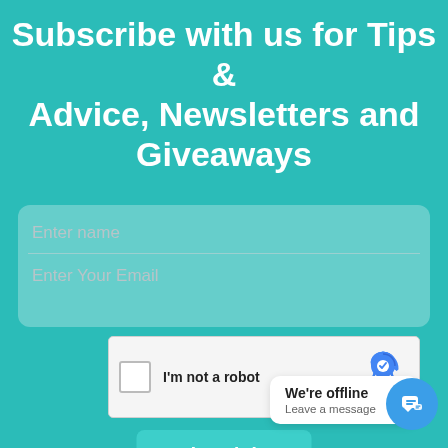Subscribe with us for Tips & Advice, Newsletters and Giveaways
[Figure (screenshot): Web form with Enter name and Enter Your Email input fields on teal background]
[Figure (screenshot): reCAPTCHA widget with checkbox 'I'm not a robot' and reCAPTCHA logo with Privacy and Terms links]
I am in!
We're offline
Leave a message